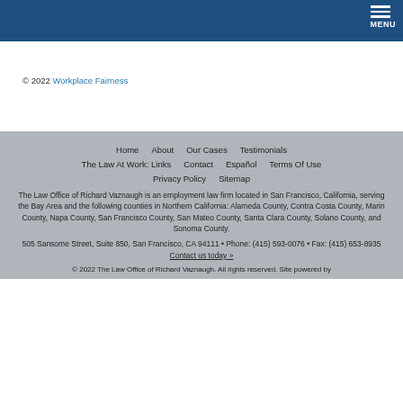MENU
© 2022 Workplace Fairness
Home   About   Our Cases   Testimonials   The Law At Work: Links   Contact   Español   Terms Of Use   Privacy Policy   Sitemap
The Law Office of Richard Vaznaugh is an employment law firm located in San Francisco, California, serving the Bay Area and the following counties in Northern California: Alameda County, Contra Costa County, Marin County, Napa County, San Francisco County, San Mateo County, Santa Clara County, Solano County, and Sonoma County.
505 Sansome Street, Suite 850, San Francisco, CA 94111 • Phone: (415) 593-0076 • Fax: (415) 653-8935
Contact us today »
© 2022 The Law Office of Richard Vaznaugh. All rights reserved. Site powered by